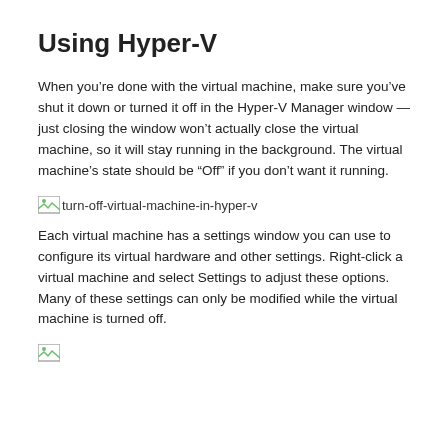Using Hyper-V
When you’re done with the virtual machine, make sure you’ve shut it down or turned it off in the Hyper-V Manager window — just closing the window won’t actually close the virtual machine, so it will stay running in the background. The virtual machine’s state should be “Off” if you don’t want it running.
[Figure (screenshot): Broken image placeholder with filename: turn-off-virtual-machine-in-hyper-v]
Each virtual machine has a settings window you can use to configure its virtual hardware and other settings. Right-click a virtual machine and select Settings to adjust these options. Many of these settings can only be modified while the virtual machine is turned off.
[Figure (screenshot): Broken image placeholder at bottom of page]